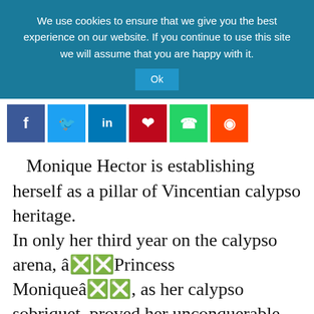We use cookies to ensure that we give you the best experience on our website. If you continue to use this site we will assume that you are happy with it.
Ok
[Figure (other): Social sharing buttons: Facebook (f), Twitter (bird), LinkedIn (in), Pinterest (p), WhatsApp (phone), Reddit (alien)]
Monique Hector is establishing herself as a pillar of Vincentian calypso heritage.
In only her third year on the calypso arena, â  Princess Moniqueâ  , as her calypso sobriquet, proved her unconquerable spirit with retention of the national calypso monarch.
With numbers â  15 talking headsâ   and â  Political